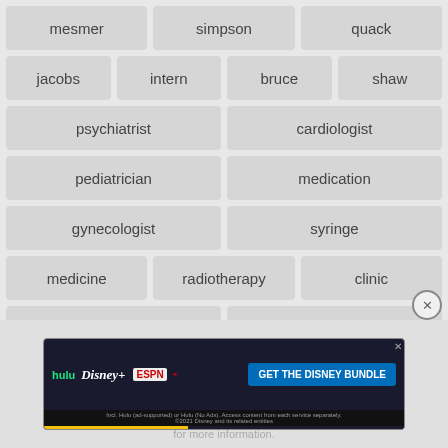mesmer
simpson
quack
jacobs
intern
bruce
shaw
psychiatrist
cardiologist
pediatrician
medication
gynecologist
syringe
medicine
radiotherapy
clinic
radiologist
internist
nephrologist
virologist
[Figure (screenshot): Disney Bundle advertisement banner showing Hulu, Disney+, and ESPN+ logos with 'GET THE DISNEY BUNDLE' call to action button]
Please note that this website uses cookies to personalize content and advertising, and to analyze traffic. It also stores and shares information about your use of this site. click here for more information.